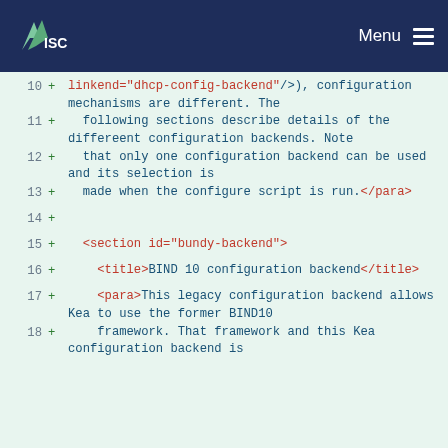ISC | Menu
10 + linkend="dhcp-config-backend"/>), configuration mechanisms are different. The
11 + following sections describe details of the differeent configuration backends. Note
12 + that only one configuration backend can be used and its selection is
13 + made when the configure script is run.</para>
14 +
15 + <section id="bundy-backend">
16 + <title>BIND 10 configuration backend</title>
17 + <para>This legacy configuration backend allows Kea to use the former BIND10
18 + framework. That framework and this Kea configuration backend is